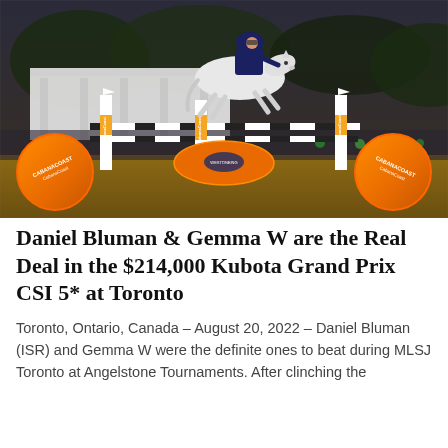[Figure (photo): Equestrian show jumping photo: a rider in dark blue jacket and black helmet on a white horse leaping over orange-and-white CabanaCoast-branded jump poles in an arena. Orange spherical jump elements branded 'CabanaCoast' are visible on both sides and center. The arena background shows a white pavilion structure, spectators, and arena lighting at dusk/evening.]
Daniel Bluman & Gemma W are the Real Deal in the $214,000 Kubota Grand Prix CSI 5* at Toronto
Toronto, Ontario, Canada – August 20, 2022 – Daniel Bluman (ISR) and Gemma W were the definite ones to beat during MLSJ Toronto at Angelstone Tournaments. After clinching the